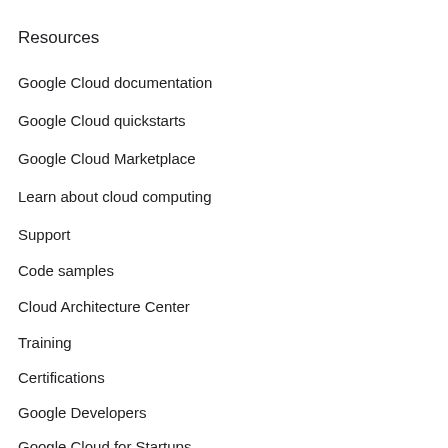Resources
Google Cloud documentation
Google Cloud quickstarts
Google Cloud Marketplace
Learn about cloud computing
Support
Code samples
Cloud Architecture Center
Training
Certifications
Google Developers
Google Cloud for Startups
System status